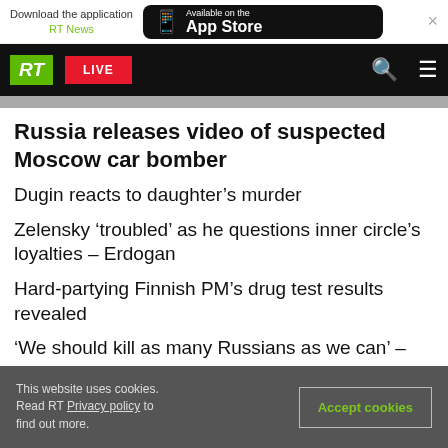Download the application RT News | Available on the App Store
RT LIVE
Russia releases video of suspected Moscow car bomber
Dugin reacts to daughter’s murder
Zelensky ‘troubled’ as he questions inner circle’s loyalties – Erdogan
Hard-partying Finnish PM’s drug test results revealed
‘We should kill as many Russians as we can’ –
This website uses cookies. Read RT Privacy policy to find out more.